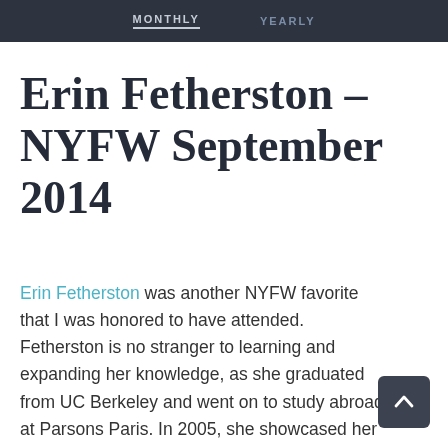MONTHLY   YEARLY
Erin Fetherston – NYFW September 2014
Erin Fetherston was another NYFW favorite that I was honored to have attended. Fetherston is no stranger to learning and expanding her knowledge, as she graduated from UC Berkeley and went on to study abroad at Parsons Paris. In 2005, she showcased her first ever feminine and chic mini...